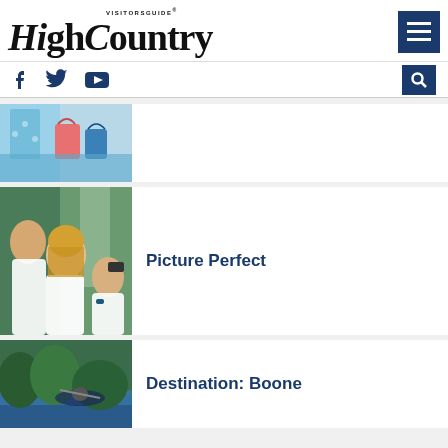High Country Visitors Guide
[Figure (photo): Shopping bags being held, partial view]
[Figure (photo): Group of young people taking a selfie outdoors near a waterfall]
Picture Perfect
[Figure (photo): Person on a watercraft or kayak on a river with green foliage]
Destination: Boone